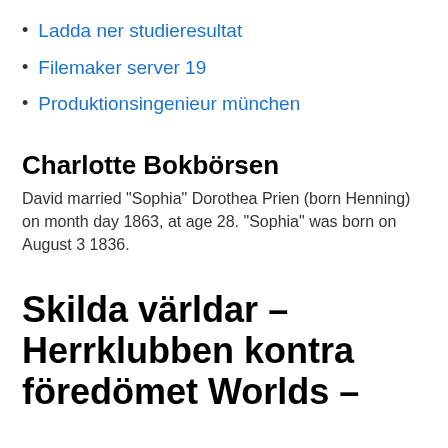Ladda ner studieresultat
Filemaker server 19
Produktionsingenieur münchen
Charlotte Bokbörsen
David married "Sophia" Dorothea Prien (born Henning) on month day 1863, at age 28. "Sophia" was born on August 3 1836.
Skilda världar – Herrklubben kontra föredömet Worlds –